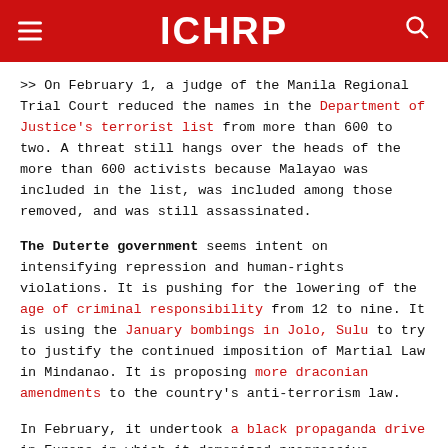ICHRP
>> On February 1, a judge of the Manila Regional Trial Court reduced the names in the Department of Justice's terrorist list from more than 600 to two. A threat still hangs over the heads of the more than 600 activists because Malayao was included in the list, was included among those removed, and was still assassinated.
The Duterte government seems intent on intensifying repression and human-rights violations. It is pushing for the lowering of the age of criminal responsibility from 12 to nine. It is using the January bombings in Jolo, Sulu to try to justify the continued imposition of Martial Law in Mindanao. It is proposing more draconian amendments to the country's anti-terrorism law.
In February, it undertook a black propaganda drive in Europe in which it demonized progressive organizations and institutions in the Philippines as Communist fronts, in order to attempt to deodorize its stinking human-rights record. It continues to appoint retired police